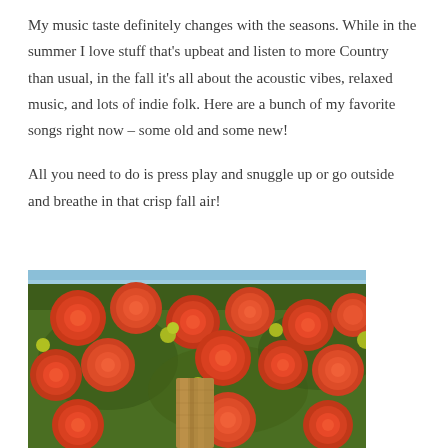My music taste definitely changes with the seasons. While in the summer I love stuff that's upbeat and listen to more Country than usual, in the fall it's all about the acoustic vibes, relaxed music, and lots of indie folk. Here are a bunch of my favorite songs right now – some old and some new!

All you need to do is press play and snuggle up or go outside and breathe in that crisp fall air!
[Figure (photo): A close-up photo of orange and red mums/chrysanthemums with green foliage and a wooden post visible in the center foreground. A small strip of blue sky is visible at the top.]